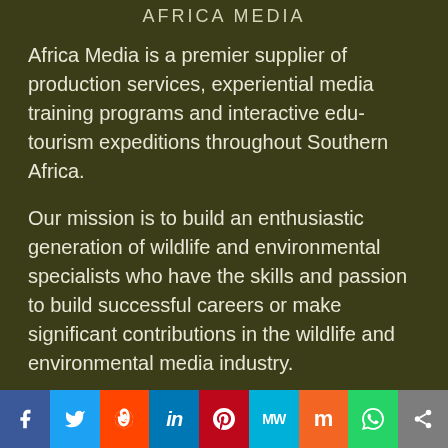AFRICA MEDIA
Africa Media is a premier supplier of production services, experiential media training programs and interactive edu-tourism expeditions throughout Southern Africa.
Our mission is to build an enthusiastic generation of wildlife and environmental specialists who have the skills and passion to build successful careers or make significant contributions in the wildlife and environmental media industry.
MEMBERSHIPS